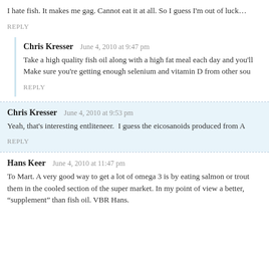I hate fish. It makes me gag. Cannot eat it at all. So I guess I'm out of luck…
REPLY
Chris Kresser  June 4, 2010 at 9:47 pm
Take a high quality fish oil along with a high fat meal each day and you'll Make sure you're getting enough selenium and vitamin D from other sou
REPLY
Chris Kresser  June 4, 2010 at 9:53 pm
Yeah, that's interesting entliteneer.  I guess the eicosanoids produced from A
REPLY
Hans Keer  June 4, 2010 at 11:47 pm
To Mart. A very good way to get a lot of omega 3 is by eating salmon or trout them in the cooled section of the super market. In my point of view a better, "supplement" than fish oil. VBR Hans.